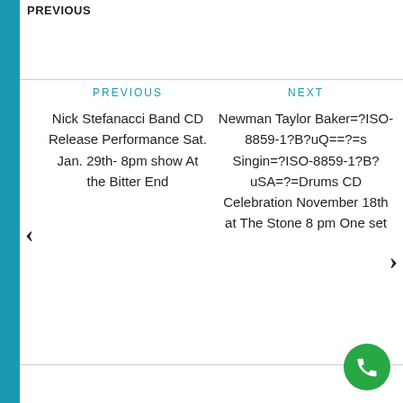PREVIOUS
Nick Stefanacci Band CD Release Performance Sat. Jan. 29th- 8pm show At the Bitter End
NEXT
Newman Taylor Baker=?ISO-8859-1?B?uQ==?=s Singin=?ISO-8859-1?B?uSA=?=Drums CD Celebration November 18th at The Stone 8 pm One set